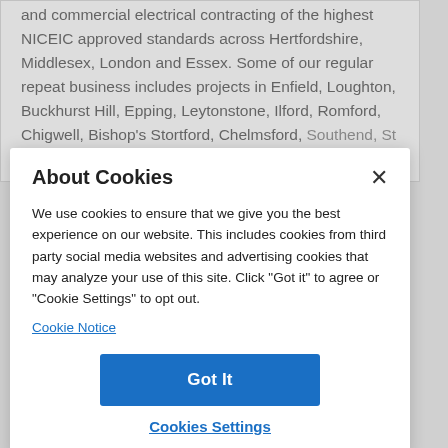and commercial electrical contracting of the highest NICEIC approved standards across Hertfordshire, Middlesex, London and Essex. Some of our regular repeat business includes projects in Enfield, Loughton, Buckhurst Hill, Epping, Leytonstone, Ilford, Romford, Chigwell, Bishop's Stortford, Chelmsford, Southend, St Albans, Barnet, Colchester, Braintree
About Cookies
We use cookies to ensure that we give you the best experience on our website. This includes cookies from third party social media websites and advertising cookies that may analyze your use of this site. Click "Got it" to agree or "Cookie Settings" to opt out.
Cookie Notice
Got It
Cookies Settings